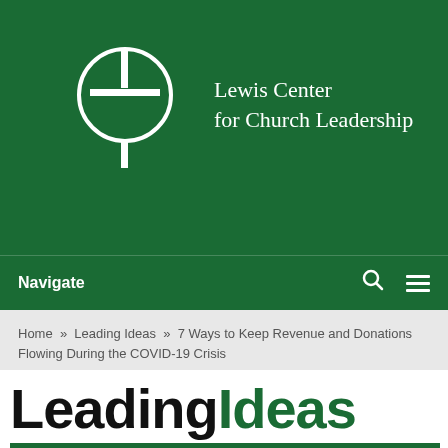[Figure (logo): Lewis Center for Church Leadership logo: white circle with cross/staff symbol on dark green background, with text 'Lewis Center for Church Leadership' in white serif font]
Navigate
Home » Leading Ideas » 7 Ways to Keep Revenue and Donations Flowing During the COVID-19 Crisis
Leading Ideas